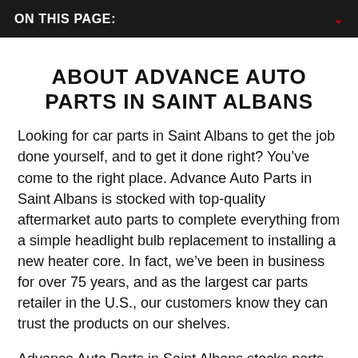ON THIS PAGE:
ABOUT ADVANCE AUTO PARTS IN SAINT ALBANS
Looking for car parts in Saint Albans to get the job done yourself, and to get it done right? You’ve come to the right place. Advance Auto Parts in Saint Albans is stocked with top-quality aftermarket auto parts to complete everything from a simple headlight bulb replacement to installing a new heater core. In fact, we’ve been in business for over 75 years, and as the largest car parts retailer in the U.S., our customers know they can trust the products on our shelves.
Advance Auto Parts in Saint Albans stocks parts for all kinds of vehicles, from cars and motorcycles to ATVs and lawnmowers. Whether you’re looking to complete